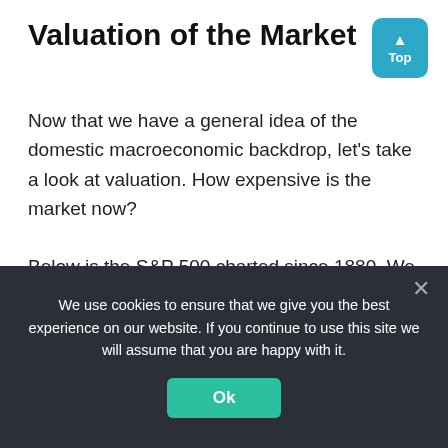Valuation of the Market
Now that we have a general idea of the domestic macroeconomic backdrop, let’s take a look at valuation. How expensive is the market now?
Below is the S&P 500 charted since 1880. We probably don’t need to go *quite* that far back for the perspective we need, but at least it’s interesting to see:
[Figure (continuous-plot): Partial view of S&P 500 chart since 1880, showing y-axis labels 65, 40, 15 and a sharp vertical spike at the right edge. Chart is partially obscured by cookie banner.]
We use cookies to ensure that we give you the best experience on our website. If you continue to use this site we will assume that you are happy with it.